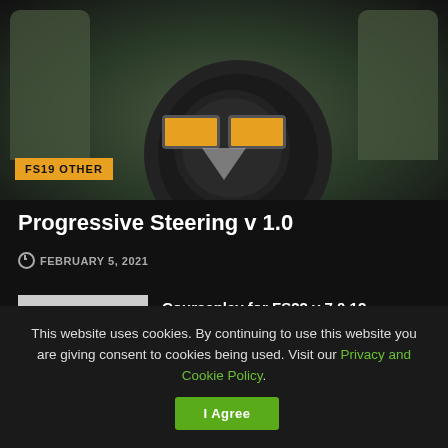[Figure (photo): Interior view of a tractor/farming simulator cab showing steering wheel with orange/amber lights and two seats, with a yellow 'FS19 OTHER' badge overlay]
Progressive Steering v 1.0
FEBRUARY 5, 2021
Courseplay for FS22 v 7.0.12
JANUARY 3, 2022
Greenhouse Large Water opposite v 1.0
This website uses cookies. By continuing to use this website you are giving consent to cookies being used. Visit our Privacy and Cookie Policy.
I Agree